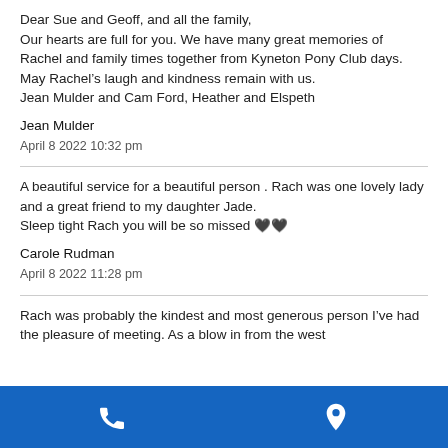Dear Sue and Geoff, and all the family,
Our hearts are full for you. We have many great memories of Rachel and family times together from Kyneton Pony Club days. May Rachel’s laugh and kindness remain with us.
Jean Mulder and Cam Ford, Heather and Elspeth
Jean Mulder
April 8 2022 10:32 pm
A beautiful service for a beautiful person . Rach was one lovely lady and a great friend to my daughter Jade.
Sleep tight Rach you will be so missed ♥♥
Carole Rudman
April 8 2022 11:28 pm
Rach was probably the kindest and most generous person I’ve had the pleasure of meeting. As a blow in from the west...